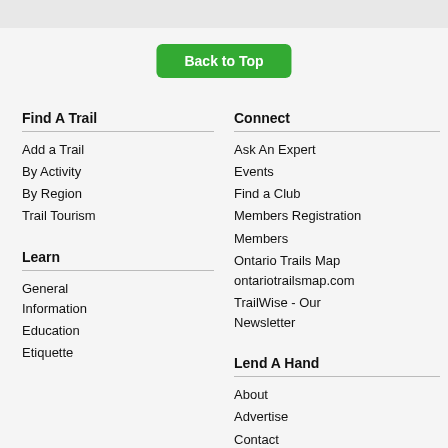Back to Top
Find A Trail
Add a Trail
By Activity
By Region
Trail Tourism
Connect
Ask An Expert
Events
Find a Club
Members Registration
Members
Ontario Trails Map ontariotrailsmap.com
TrailWise - Our Newsletter
Learn
General Information
Education
Etiquette
Lend A Hand
About
Advertise
Contact
Donate